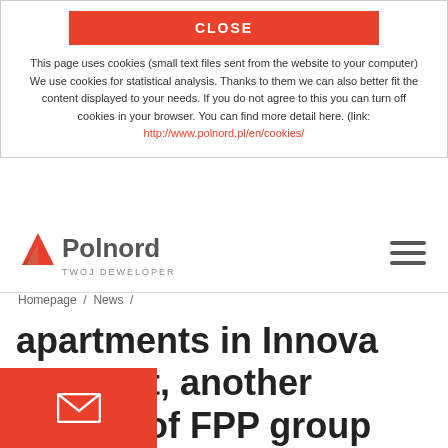[Figure (other): CLOSE button (red rectangle with white bold text)]
This page uses cookies (small text files sent from the website to your computer) We use cookies for statistical analysis. Thanks to them we can also better fit the content displayed to your needs. If you do not agree to this you can turn off cookies in your browser. You can find more detail here. (link: http://www.polnord.pl/en/cookies/)
[Figure (logo): Polnord logo with red triangle and text TWOJ DEWELOPER, plus hamburger menu icon]
Homepage / News /
apartments in Innova Concept, another project of FPP group carried out in Wrocław Krzyki, has begun. Innova Concept is the fourth investment of FPP has begun the construction